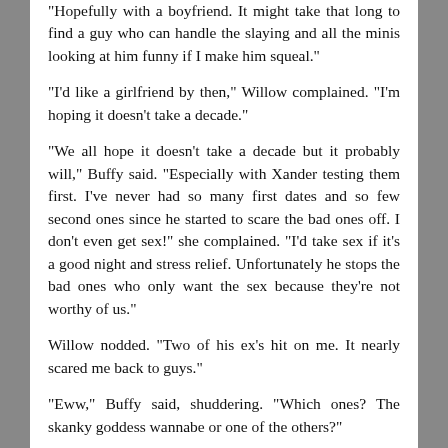"Hopefully with a boyfriend. It might take that long to find a guy who can handle the slaying and all the minis looking at him funny if I make him squeal."
"I'd like a girlfriend by then," Willow complained. "I'm hoping it doesn't take a decade."
"We all hope it doesn't take a decade but it probably will," Buffy said. "Especially with Xander testing them first. I've never had so many first dates and so few second ones since he started to scare the bad ones off. I don't even get sex!" she complained. "I'd take sex if it's a good night and stress relief. Unfortunately he stops the bad ones who only want the sex because they're not worthy of us."
Willow nodded. "Two of his ex's hit on me. It nearly scared me back to guys."
"Eww," Buffy said, shuddering. "Which ones? The skanky goddess wannabe or one of the others?"
"Bethany." Buffy made gagging noises. "And that redheaded slutty thing that was wearing the leather skirt that even Faith thought was slutty."